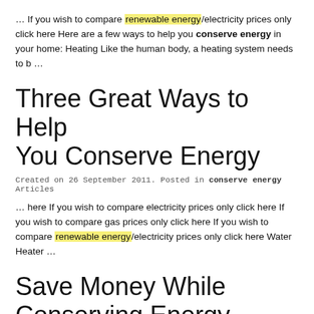… If you wish to compare renewable energy/electricity prices only click here Here are a few ways to help you conserve energy in your home: Heating Like the human body, a heating system needs to b …
Three Great Ways to Help You Conserve Energy
Created on 26 September 2011. Posted in conserve energy Articles
… here If you wish to compare electricity prices only click here If you wish to compare gas prices only click here If you wish to compare renewable energy/electricity prices only click here Water Heater …
Save Money While Conserving Energy
Created on 26 September 2011. Posted in conserve energy Articles
… to compare gas and electricity prices click here If you wish to